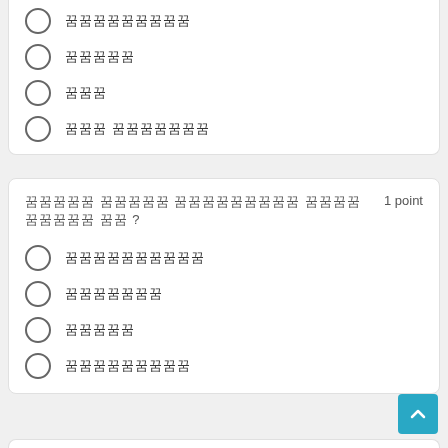꿈꿈꿈꿈꿈꿈꿈꿈꿈
꿈꿈꿈꿈꿈
꿈꿈꿈
꿈꿈꿈 꿈꿈꿈꿈꿈꿈꿈
꿈꿈꿈꿈꿈 꿈꿈꿈꿈꿈 꿈꿈꿈꿈꿈꿈꿈꿈꿈 꿈꿈꿈꿈 꿈꿈꿈꿈꿈 꿈꿈 ?
1 point
꿈꿈꿈꿈꿈꿈꿈꿈꿈꿈
꿈꿈꿈꿈꿈꿈꿈
꿈꿈꿈꿈꿈
꿈꿈꿈꿈꿈꿈꿈꿈꿈